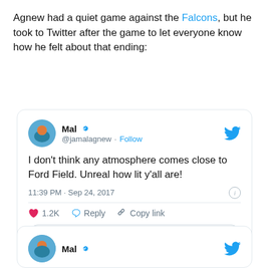Agnew had a quiet game against the Falcons, but he took to Twitter after the game to let everyone know how he felt about that ending:
[Figure (screenshot): Embedded tweet from @jamalagnew (Mal) with verified badge. Tweet text: "I don't think any atmosphere comes close to Ford Field. Unreal how lit y'all are!" Posted at 11:39 PM · Sep 24, 2017. 1.2K likes. Actions: Reply, Copy link. Button: Read 16 replies.]
[Figure (screenshot): Partial second embedded tweet from @jamalagnew (Mal) with verified badge, cut off at bottom of page.]